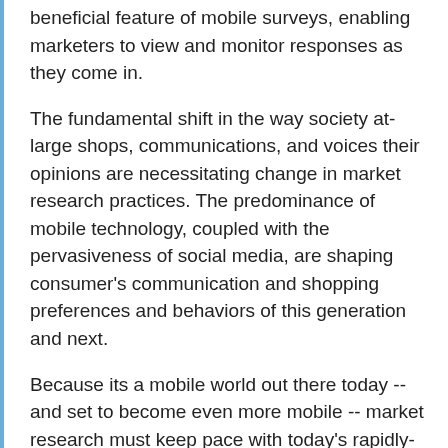beneficial feature of mobile surveys, enabling marketers to view and monitor responses as they come in.
The fundamental shift in the way society at-large shops, communications, and voices their opinions are necessitating change in market research practices. The predominance of mobile technology, coupled with the pervasiveness of social media, are shaping consumer's communication and shopping preferences and behaviors of this generation and next.
Because its a mobile world out there today -- and set to become even more mobile -- market research must keep pace with today's rapidly-expanding mobile technology.
For marketers, it's a matter of survival to get into the mobile research survey game to even the playing field.